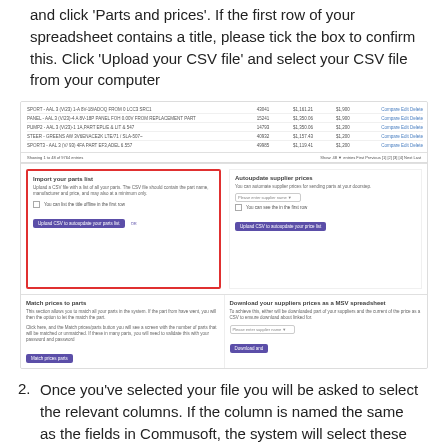and click 'Parts and prices'. If the first row of your spreadsheet contains a title, please tick the box to confirm this. Click 'Upload your CSV file' and select your CSV file from your computer
[Figure (screenshot): Screenshot of a web application showing a parts and prices list at the top with table rows, pagination controls, and below that a panel split into two sections: on the left 'Import your parts list' with a red border highlight, showing a description, a checkbox for 'You can list the title offline in the first row', and an 'Upload CSV to autoupdate your parts list' button; on the right 'Autoupdate supplier prices' with a please select supplier name dropdown and an upload button. Below are two more panels: 'Match prices to parts' on the left and 'Download your suppliers prices as a MSV spreadsheet' on the right.]
Once you've selected your file you will be asked to select the relevant columns. If the column is named the same as the fields in Commusoft, the system will select these automatically